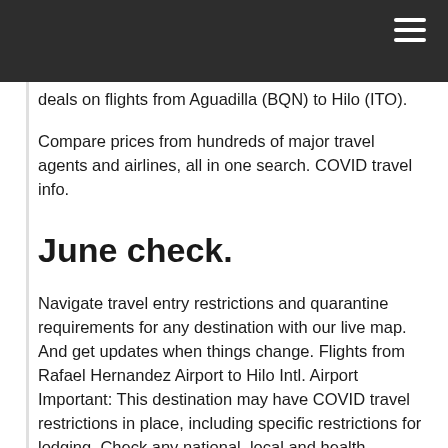deals on flights from Aguadilla (BQN) to Hilo (ITO).
Compare prices from hundreds of major travel agents and airlines, all in one search. COVID travel info.
June check.
Navigate travel entry restrictions and quarantine requirements for any destination with our live map. And get updates when things change. Flights from Rafael Hernandez Airport to Hilo Intl. Airport Important: This destination may have COVID travel restrictions in place, including specific restrictions for lodging. Check any national, local and health advisories for this destination before you book. Flights from Aguadilla to Hilo (BQN to ITO) There